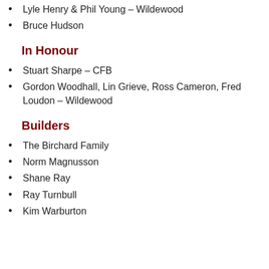Lyle Henry & Phil Young – Wildewood
Bruce Hudson
In Honour
Stuart Sharpe – CFB
Gordon Woodhall, Lin Grieve, Ross Cameron, Fred Loudon – Wildewood
Builders
The Birchard Family
Norm Magnusson
Shane Ray
Ray Turnbull
Kim Warburton